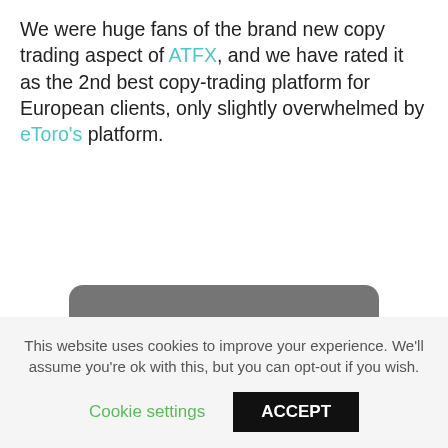We were huge fans of the brand new copy trading aspect of ATFX, and we have rated it as the 2nd best copy-trading platform for European clients, only slightly overwhelmed by eToro's platform.
[Figure (other): Dark grey rounded rectangle button with cyan text reading 'Join ATFX']
75.12% of retail investor accounts lose money when trading CFDs with this provider. You should consider whether you can afford to take the risk of losing your money.
How to Open your Account
This website uses cookies to improve your experience. We'll assume you're ok with this, but you can opt-out if you wish.